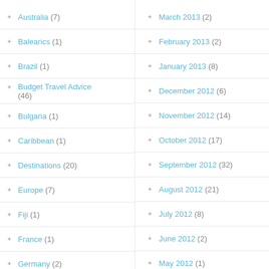Australia (7)
Balearics (1)
Brazil (1)
Budget Travel Advice (46)
Bulgaria (1)
Caribbean (1)
Destinations (20)
Europe (7)
Fiji (1)
France (1)
Germany (2)
Greece (1)
Holland (1)
Humor (1)
Iceland (1)
India (1)
March 2013 (2)
February 2013 (2)
January 2013 (8)
December 2012 (6)
November 2012 (14)
October 2012 (17)
September 2012 (32)
August 2012 (21)
July 2012 (8)
June 2012 (2)
May 2012 (1)
April 2012 (9)
March 2012 (2)
February 2012 (7)
January 2012 (2)